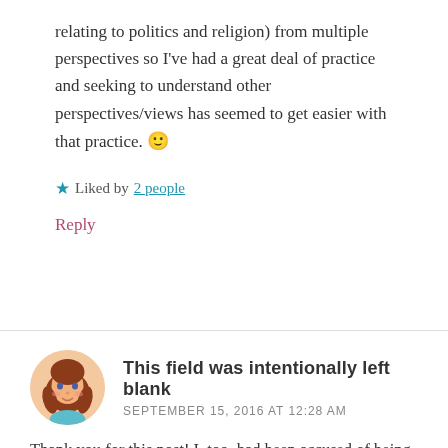relating to politics and religion) from multiple perspectives so I've had a great deal of practice and seeking to understand other perspectives/views has seemed to get easier with that practice. 🙂
★ Liked by 2 people
Reply
This field was intentionally left blank
SEPTEMBER 15, 2016 AT 12:28 AM
Thank you for this post! I, too, had been accused of being controlling. All I wanted was stability. I guess I was a bit too adamant in my insistence on that when